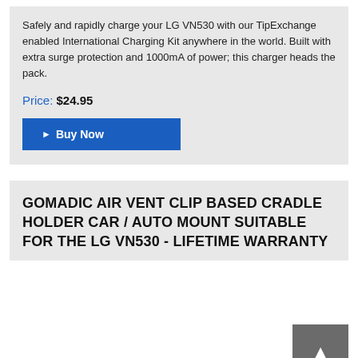Safely and rapidly charge your LG VN530 with our TipExchange enabled International Charging Kit anywhere in the world. Built with extra surge protection and 1000mA of power; this charger heads the pack.
Price: $24.95
▶ Buy Now
GOMADIC AIR VENT CLIP BASED CRADLE HOLDER CAR / AUTO MOUNT SUITABLE FOR THE LG VN530 - LIFETIME WARRANTY
[Figure (photo): White image placeholder area for product photo]